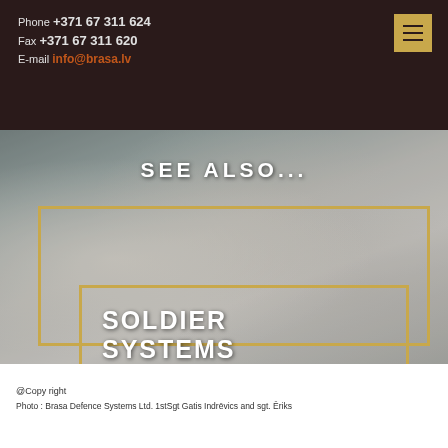Phone +371 67 311 624
Fax +371 67 311 620
E-mail info@brasa.lv
[Figure (photo): Soldiers in combat gear walking through smoke/fog, military scene. Overlaid with 'SEE ALSO...' text above a gold-bordered box containing 'SOLDIER SYSTEMS' with a right arrow.]
@Copy right
Photo : Brasa Defence Systems Ltd. 1stSgt Gatis Indrēvics and sgt. Ēriks